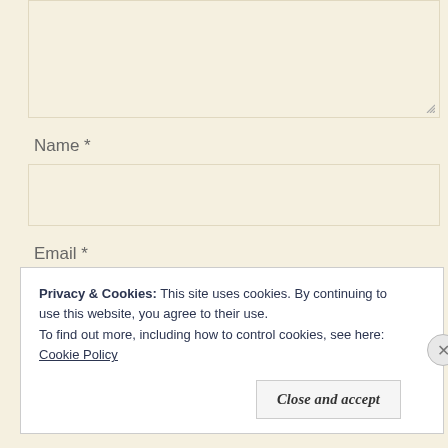[Figure (screenshot): Textarea input field with beige/cream background and resize handle in bottom-right corner]
Name *
[Figure (screenshot): Name input field with beige/cream background]
Email *
[Figure (screenshot): Email input field with beige/cream background]
Website
Privacy & Cookies: This site uses cookies. By continuing to use this website, you agree to their use.
To find out more, including how to control cookies, see here: Cookie Policy
Close and accept